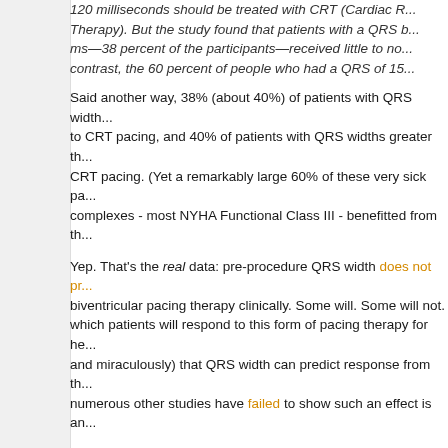120 milliseconds should be treated with CRT (Cardiac Resynchronization Therapy). But the study found that patients with a QRS between 120-149 ms—38 percent of the participants—received little to no benefit. In contrast, the 60 percent of people who had a QRS of 150 ms or greater...
Said another way, 38% (about 40%) of patients with QRS widths... to CRT pacing, and 40% of patients with QRS widths greater than... CRT pacing. (Yet a remarkably large 60% of these very sick patients... complexes - most NYHA Functional Class III - benefitted from the...
Yep. That's the real data: pre-procedure QRS width does not predict biventricular pacing therapy clinically. Some will. Some will not. which patients will respond to this form of pacing therapy for he... and miraculously) that QRS width can predict response from th... numerous other studies have failed to show such an effect is an...
Now, please guys, can we stop bashing the best form of heart f... wide QRS complexes above and beyond our maximal medical t... important issues like bathing salt bans extolled by our AMA lead...
Now there's science!
-Wes
P.S.: (For a much calmer evaluation of the trial and the media's...